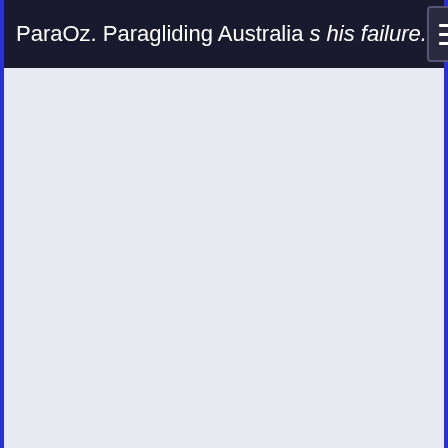ParaOz. Paragliding Australia  …s his failure.
[Figure (screenshot): Mobile website screenshot showing a navigation header bar for ParaOz. Paragliding Australia with a hamburger menu button on the right and a mostly blank lavender-blue content area below.]